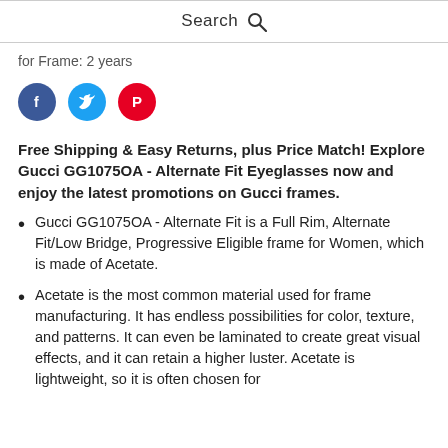Search
for Frame: 2 years
[Figure (other): Social media share icons: Facebook (blue circle with f), Twitter (cyan circle with bird), Pinterest (red circle with P)]
Free Shipping & Easy Returns, plus Price Match! Explore Gucci GG1075OA - Alternate Fit Eyeglasses now and enjoy the latest promotions on Gucci frames.
Gucci GG1075OA - Alternate Fit is a Full Rim, Alternate Fit/Low Bridge, Progressive Eligible frame for Women, which is made of Acetate.
Acetate is the most common material used for frame manufacturing. It has endless possibilities for color, texture, and patterns. It can even be laminated to create great visual effects, and it can retain a higher luster. Acetate is lightweight, so it is often chosen for